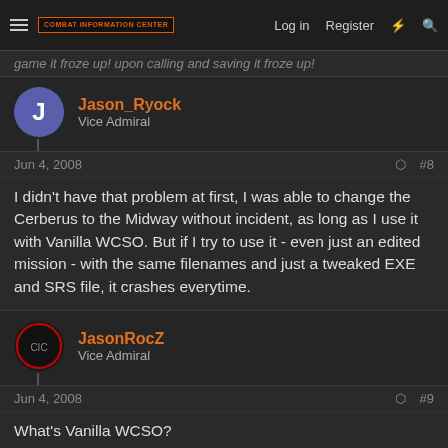Combat Information Center | Log in | Register
game it froze up! upon calling and saving it froze up!
Jason_Ryock
Vice Admiral
Jun 4, 2008  #8
I didn't have that problem at first, I was able to change the Cerberus to the Midway without incident, as long as I use it with Vanilla WCSO. But if I try to use it - even just an edited mission - with the same filenames and just a tweaked EXE and SRS file, it crashes everytime.
JasonRocZ
Vice Admiral
Jun 4, 2008  #9
What's Vanilla WCSO?